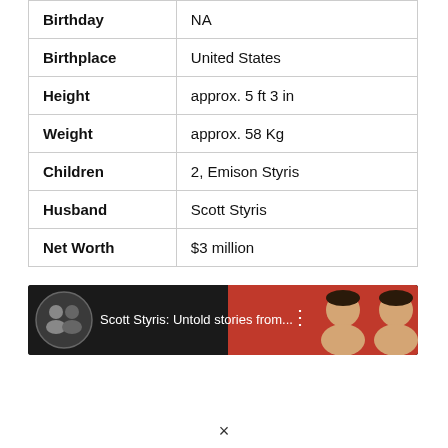| Birthday | NA |
| Birthplace | United States |
| Height | approx. 5 ft 3 in |
| Weight | approx. 58 Kg |
| Children | 2, Emison Styris |
| Husband | Scott Styris |
| Net Worth | $3 million |
[Figure (screenshot): YouTube video thumbnail showing 'Scott Styris: Untold stories from...' with circular thumbnail of two men on the left and two men's faces on the right side against a red background]
×